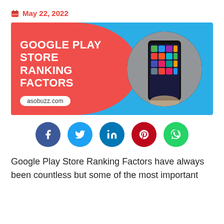May 22, 2022
[Figure (illustration): Banner image for Google Play Store Ranking Factors article. Red blob on blue background with bold white text reading GOOGLE PLAY STORE RANKING FACTORS and asobuzz.com URL badge. Circular photo of a hand holding a smartphone with apps.]
[Figure (infographic): Row of five social sharing buttons: Facebook (dark blue), Twitter (blue), LinkedIn (blue), Pinterest (dark red), WhatsApp (green)]
Google Play Store Ranking Factors have always been countless but some of the most important